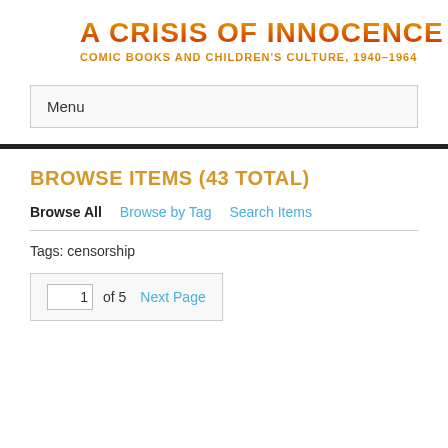A CRISIS OF INNOCENCE
COMIC BOOKS AND CHILDREN'S CULTURE, 1940–1964
Menu
BROWSE ITEMS (43 TOTAL)
Browse All   Browse by Tag   Search Items
Tags: censorship
1 of 5   Next Page